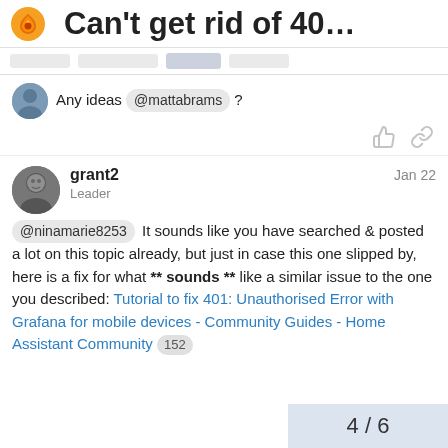Can't get rid of 40…
Any ideas @mattabrams ?
grant2
Leader
Jan 22
@ninamarie8253 It sounds like you have searched & posted a lot on this topic already, but just in case this one slipped by, here is a fix for what ** sounds ** like a similar issue to the one you described: Tutorial to fix 401: Unauthorised Error with Grafana for mobile devices - Community Guides - Home Assistant Community 152
4 / 6